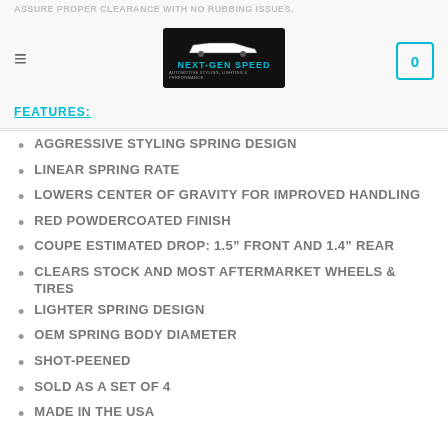ASSURE PROPER CLEARANCE WITH NO RUBBING ISSUES.
FEATURES:
AGGRESSIVE STYLING SPRING DESIGN
LINEAR SPRING RATE
LOWERS CENTER OF GRAVITY FOR IMPROVED HANDLING
RED POWDERCOATED FINISH
COUPE ESTIMATED DROP: 1.5" FRONT AND 1.4" REAR
CLEARS STOCK AND MOST AFTERMARKET WHEELS & TIRES
LIGHTER SPRING DESIGN
OEM SPRING BODY DIAMETER
SHOT-PEENED
SOLD AS A SET OF 4
MADE IN THE USA